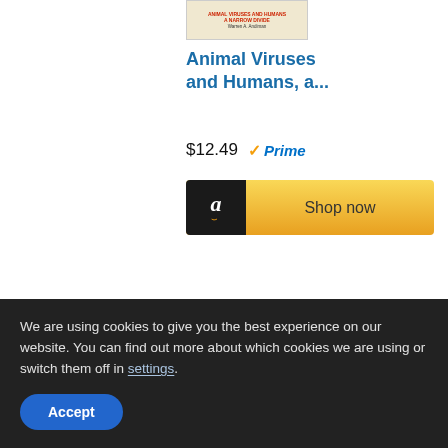[Figure (illustration): Small book cover thumbnail for 'Animal Viruses and Humans' by Warren A. Andiman, with red text and author name on a light background]
Animal Viruses and Humans, a...
$12.49  ✓Prime
[Figure (logo): Amazon 'Shop now' button with black Amazon logo on left and gradient yellow background]
We are using cookies to give you the best experience on our website. You can find out more about which cookies we are using or switch them off in settings.
Accept